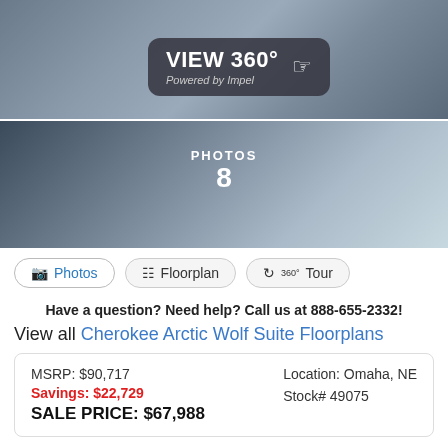[Figure (photo): RV exterior photo split into two sections with a VIEW 360° badge overlay and PHOTOS 8 counter]
Photos | Floorplan | 360° Tour
Have a question? Need help? Call us at 888-655-2332!
View all Cherokee Arctic Wolf Suite Floorplans
| MSRP: $90,717 | Location: Omaha, NE |
| Savings: $22,729 | Stock# 49075 |
| SALE PRICE: $67,988 |  |